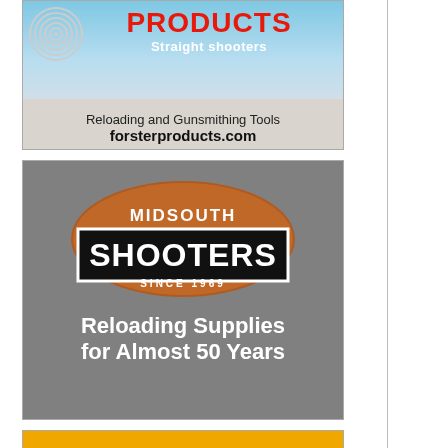[Figure (advertisement): Forster Products advertisement showing target logo, PRODUCTS text in red, 'Straight shooters' tagline, sky blue background, with text 'Reloading and Gunsmithing Tools' and 'forsterproducts.com']
[Figure (advertisement): Midsouth Shooters advertisement with gray textured background, brown oval logo containing 'MIDSOUTH' and black rectangle with 'SHOOTERS' text, 'SINCE 1969', and 'Reloading Supplies for Almost 50 Years']
[Figure (advertisement): Partial orange advertisement at bottom of page, cut off]